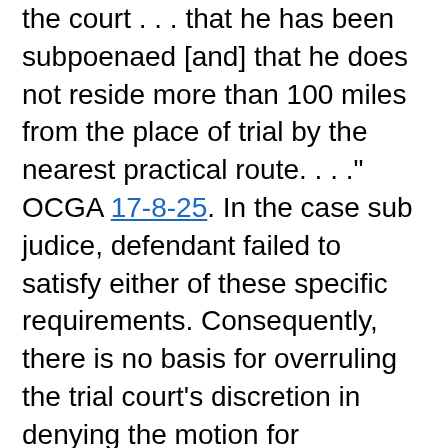the court . . . that he has been subpoenaed [and] that he does not reside more than 100 miles from the place of trial by the nearest practical route. . . ." OCGA 17-8-25. In the case sub judice, defendant failed to satisfy either of these specific requirements. Consequently, there is no basis for overruling the trial court's discretion in denying the motion for continuance. Curry v. State, 177 Ga. App. 609 (1), supra.
3. In his final three enumerations, defendant contends the trial court erred in instructing co-defendant Moss, in the presence of the jury, that the witness was not required to respond to defense counsel's